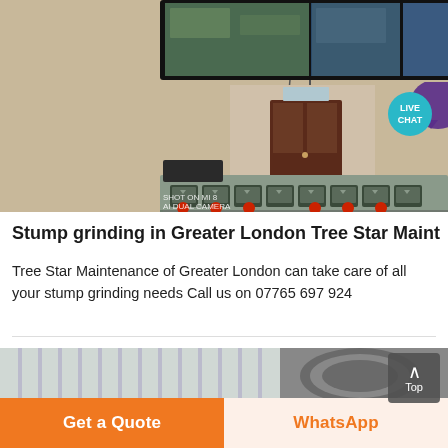[Figure (photo): Indoor control panel room with a TV monitor on wall showing aerial factory footage, a brown door, and a gray industrial control panel with multiple black push-buttons and red indicator lights.]
Stump grinding in Greater London Tree Star Maint
Tree Star Maintenance of Greater London can take care of all your stump grinding needs Call us on 07765 697 924
[Figure (photo): Partial view of industrial ventilation or grinding equipment with curved metallic surfaces.]
Get a Quote
WhatsApp